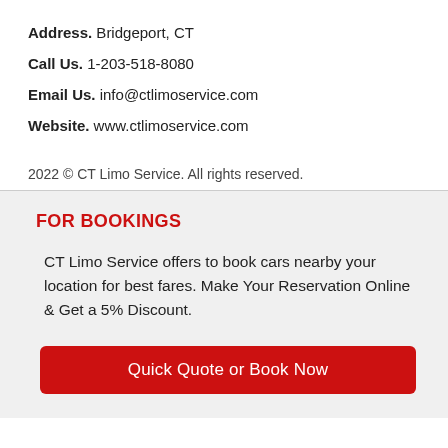Address. Bridgeport, CT
Call Us. 1-203-518-8080
Email Us. info@ctlimoservice.com
Website. www.ctlimoservice.com
2022 © CT Limo Service. All rights reserved.
FOR BOOKINGS
CT Limo Service offers to book cars nearby your location for best fares. Make Your Reservation Online & Get a 5% Discount.
Quick Quote or Book Now